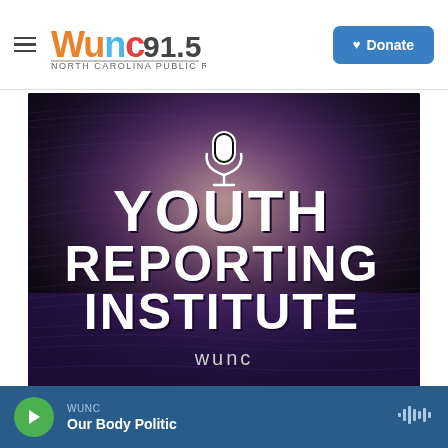WUNC 91.5 NORTH CAROLINA PUBLIC RADIO — Donate
[Figure (illustration): Youth Reporting Institute promotional image with a dark wavy-lines background, a white microphone icon at top center, large white bold text reading YOUTH REPORTING INSTITUTE with purple/pink glow effects, and WUNC wordmark at the bottom.]
WUNC — Our Body Politic (audio player bar)